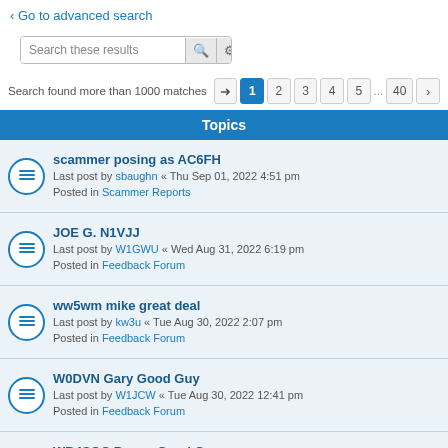Go to advanced search
Search these results
Search found more than 1000 matches  1 2 3 4 5 ... 40 >
Topics
scammer posing as AC6FH
Last post by sbaughn « Thu Sep 01, 2022 4:51 pm
Posted in Scammer Reports
JOE G. N1VJJ
Last post by W1GWU « Wed Aug 31, 2022 6:19 pm
Posted in Feedback Forum
ww5wm mike great deal
Last post by kw3u « Tue Aug 30, 2022 2:07 pm
Posted in Feedback Forum
W0DVN Gary Good Guy
Last post by W1JCW « Tue Aug 30, 2022 12:41 pm
Posted in Feedback Forum
WB4SQC Benny Good Guy
Last post by W1JCW « Tue Aug 30, 2022 12:37 pm
Posted in Feedback Forum
W1JCW, 2 Thumbs up!
Last post by wb4sqc « Tue Aug 30, 2022 4:55 am
Posted in Feedback Forum